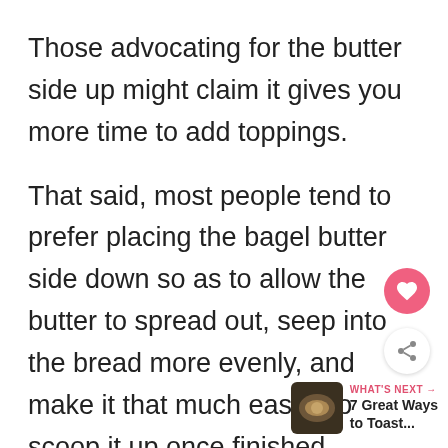Those advocating for the butter side up might claim it gives you more time to add toppings.
That said, most people tend to prefer placing the bagel butter side down so as to allow the butter to spread out, seep into the bread more evenly, and make it that much easier to scoop it up once finished.